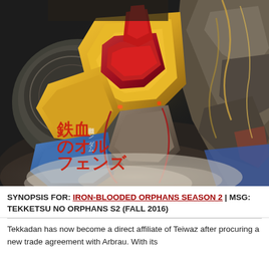[Figure (illustration): A detailed mecha/robot illustration from Mobile Suit Gundam: Iron-Blooded Orphans Season 2. The image shows a close-up of a heavily armored mech with yellow, red, and metallic gray coloring. Japanese text overlay reads: 鉄血のオルフェンズ (with smaller text 機動戦士ガンダム). Dark dramatic background with smoke/dust effects.]
SYNOPSIS FOR: IRON-BLOODED ORPHANS SEASON 2 | MSG: TEKKETSU NO ORPHANS S2 (FALL 2016)
Tekkadan has now become a direct affiliate of Teiwaz after procuring a new trade agreement with Arbrau. With its